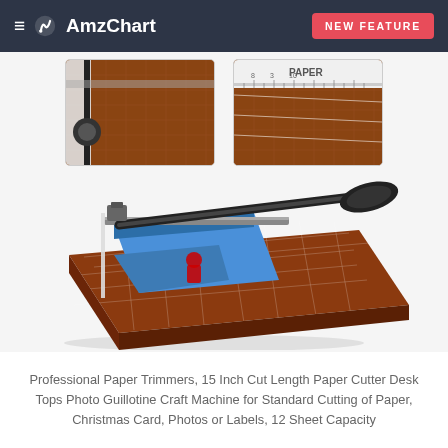≡  AmzChart   NEW FEATURE
[Figure (photo): Close-up photo of a paper trimmer blade/arm mechanism on a brown grid cutting mat]
[Figure (photo): Close-up photo of the ruler/measurement guide on a paper trimmer with brown grid mat]
[Figure (photo): Main product photo: Professional paper trimmer/guillotine cutter with brown wooden base, black arm handle, and a Christmas card on the cutting surface]
Professional Paper Trimmers, 15 Inch Cut Length Paper Cutter Desk Tops Photo Guillotine Craft Machine for Standard Cutting of Paper, Christmas Card, Photos or Labels, 12 Sheet Capacity